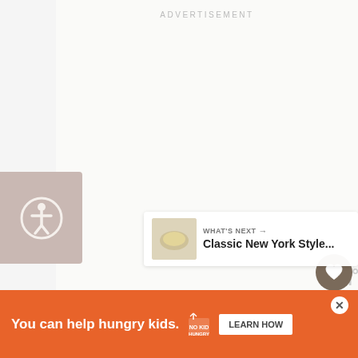ADVERTISEMENT
[Figure (other): Accessibility icon button — circular icon with person figure inside a circle, on a taupe/mauve square background]
332
[Figure (other): Heart/favorite button (dark brown circle with white heart icon) and share button (white circle with share icon), with count 332]
WHAT'S NEXT → Classic New York Style...
[Figure (other): What's Next card showing a food thumbnail and text 'Classic New York Style...']
[Figure (other): Advertisement banner: orange background, 'You can help hungry kids.' with No Kid Hungry logo and LEARN HOW button]